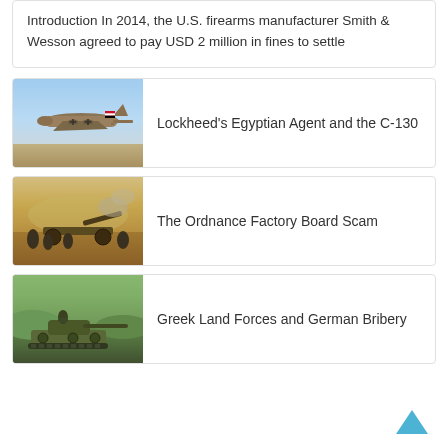Introduction In 2014, the U.S. firearms manufacturer Smith & Wesson agreed to pay USD 2 million in fines to settle
Lockheed’s Egyptian Agent and the C-130
The Ordnance Factory Board Scam
Greek Land Forces and German Bribery